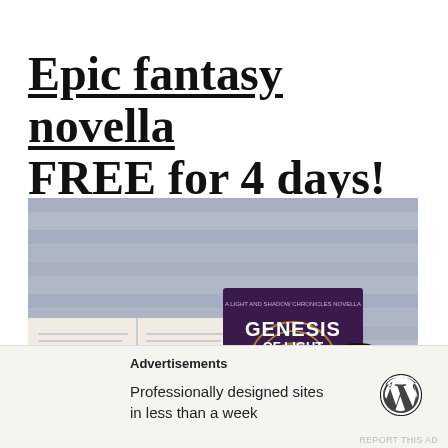Epic fantasy novella FREE for 4 days!
[Figure (photo): A book titled 'Genesis of Light - A Light and Shadow Chronicles Novella' placed on a table beside an open book and a cup of coffee/tea. The book cover features a glowing mandala-like design on a dark purple background.]
Advertisements
Professionally designed sites in less than a week